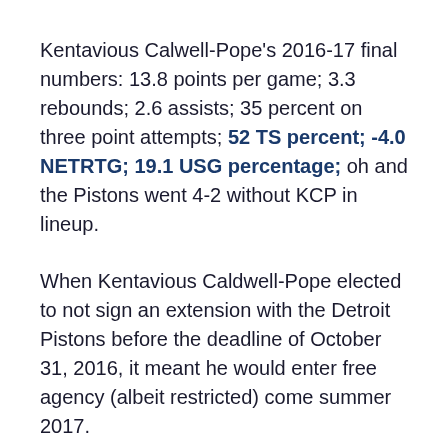Kentavious Calwell-Pope's 2016-17 final numbers: 13.8 points per game; 3.3 rebounds; 2.6 assists; 35 percent on three point attempts; 52 TS percent; -4.0 NETRTG; 19.1 USG percentage; oh and the Pistons went 4-2 without KCP in lineup.
When Kentavious Caldwell-Pope elected to not sign an extension with the Detroit Pistons before the deadline of October 31, 2016, it meant he would enter free agency (albeit restricted) come summer 2017.
Well, the summer is now only weeks away.
Detroit won 37 games and missed the playoffs; an argument can easily be made the Pistons could reach that low-hanging win total next year without the